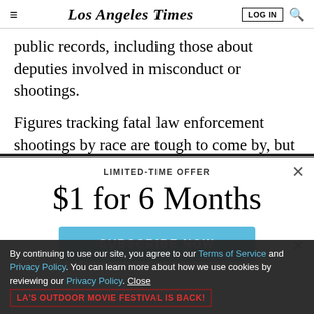Los Angeles Times — LOG IN | Search
public records, including those about deputies involved in misconduct or shootings.
Figures tracking fatal law enforcement shootings by race are tough to come by, but statewide, according to
LIMITED-TIME OFFER
$1 for 6 Months
SUBSCRIBE NOW
By continuing to use our site, you agree to our Terms of Service and Privacy Policy. You can learn more about how we use cookies by reviewing our Privacy Policy. Close
LA'S OUTDOOR MOVIE FESTIVAL IS BACK!